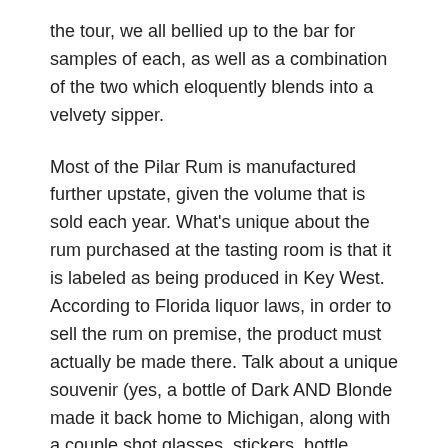the tour, we all bellied up to the bar for samples of each, as well as a combination of the two which eloquently blends into a velvety sipper.
Most of the Pilar Rum is manufactured further upstate, given the volume that is sold each year. What's unique about the rum purchased at the tasting room is that it is labeled as being produced in Key West. According to Florida liquor laws, in order to sell the rum on premise, the product must actually be made there. Talk about a unique souvenir (yes, a bottle of Dark AND Blonde made it back home to Michigan, along with a couple shot glasses, stickers, bottle openers and hats).
If you weren't aware, Pilar was Hemingway's pet name for his wife, Pauline and later his beloved fishing boat (which remains on display at his former home, Finca Vigia, located 10 miles east of Havana, Cuba). Today, it is also synonymous with this award-winning rum which is available throughout the United States (and